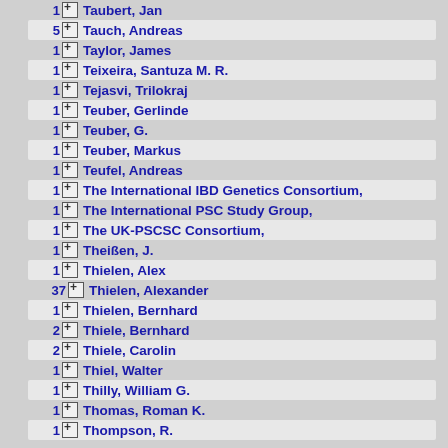1 Taubert, Jan
5 Tauch, Andreas
1 Taylor, James
1 Teixeira, Santuza M. R.
1 Tejasvi, Trilokraj
1 Teuber, Gerlinde
1 Teuber, G.
1 Teuber, Markus
1 Teufel, Andreas
1 The International IBD Genetics Consortium,
1 The International PSC Study Group,
1 The UK-PSCSC Consortium,
1 Theißen, J.
1 Thielen, Alex
37 Thielen, Alexander
1 Thielen, Bernhard
2 Thiele, Bernhard
2 Thiele, Carolin
1 Thiel, Walter
1 Thilly, William G.
1 Thomas, Roman K.
1 Thompson, R.